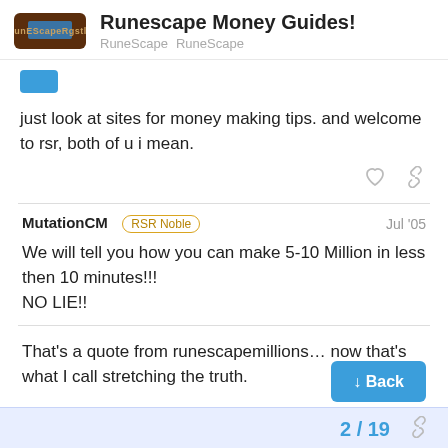Runescape Money Guides! RuneScape RuneScape
just look at sites for money making tips. and welcome to rsr, both of u i mean.
MutationCM RSR Noble Jul '05
We will tell you how you can make 5-10 Million in less then 10 minutes!!!
NO LIE!!
That's a quote from runescapemillions… now that's what I call stretching the truth.